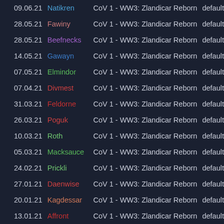| Date | Name | Map | Mode |
| --- | --- | --- | --- |
| 09.06.21 | Natikren | CoV 1 - WW3: Zlandicar Reborn | default |
| 28.05.21 | Fawiny | CoV 1 - WW3: Zlandicar Reborn | default |
| 28.05.21 | Beefnecks | CoV 1 - WW3: Zlandicar Reborn | default |
| 14.05.21 | Gawayn | CoV 1 - WW3: Zlandicar Reborn | default |
| 07.05.21 | Elmindor | CoV 1 - WW3: Zlandicar Reborn | default |
| 07.04.21 | Divmest | CoV 1 - WW3: Zlandicar Reborn | default |
| 31.03.21 | Feldorne | CoV 1 - WW3: Zlandicar Reborn | default |
| 26.03.21 | Poguk | CoV 1 - WW3: Zlandicar Reborn | default |
| 10.03.21 | Roth | CoV 1 - WW3: Zlandicar Reborn | default |
| 05.03.21 | Macksauce | CoV 1 - WW3: Zlandicar Reborn | default |
| 24.02.21 | Prickli | CoV 1 - WW3: Zlandicar Reborn | default |
| 27.01.21 | Daenwise | CoV 1 - WW3: Zlandicar Reborn | default |
| 20.01.21 | Kagdessar | CoV 1 - WW3: Zlandicar Reborn | default |
| 13.01.21 | Affront | CoV 1 - WW3: Zlandicar Reborn | default |